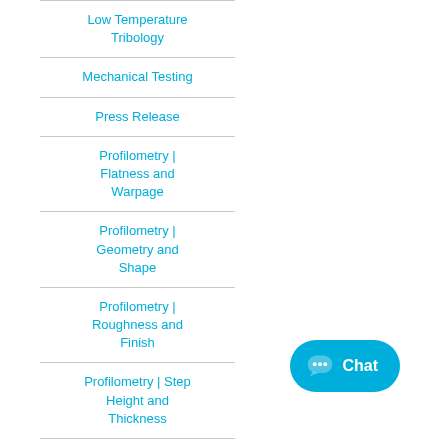Low Temperature Tribology
Mechanical Testing
Press Release
Profilometry | Flatness and Warpage
Profilometry | Geometry and Shape
Profilometry | Roughness and Finish
Profilometry | Step Height and Thickness
Profilometry |